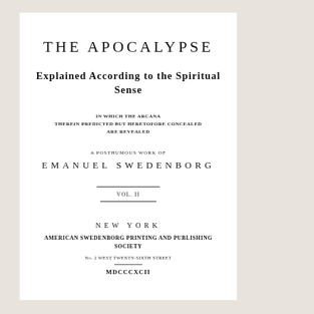THE APOCALYPSE
Explained According to the Spiritual Sense
IN WHICH THE ARCANA
THEREIN PREDICTED BUT HERETOFORE CONCEALED
ARE REVEALED
A POSTHUMOUS WORK OF
EMANUEL SWEDENBORG
VOL. II
NEW YORK
AMERICAN SWEDENBORG PRINTING AND PUBLISHING SOCIETY
No. 2 WEST TWENTY-SIXTH STREET
MDCCCXCII